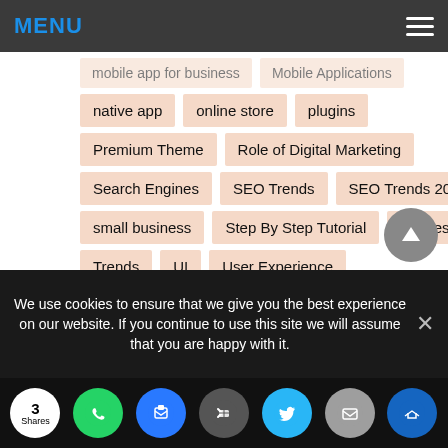MENU
mobile app for business
Mobile Applications
native app
online store
plugins
Premium Theme
Role of Digital Marketing
Search Engines
SEO Trends
SEO Trends 2019
small business
Step By Step Tutorial
themes
Trends
UI
User Experience
video content marketing
Video Marketing
We use cookies to ensure that we give you the best experience on our website. If you continue to use this site we will assume that you are happy with it.
3 Shares